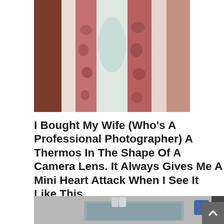[Figure (photo): Close-up photo of raw pork belly or bacon cuts laid flat, showing pink meat with white fat striations.]
I Bought My Wife (Who’s A Professional Photographer) A Thermos In The Shape Of A Camera Lens. It Always Gives Me A Mini Heart Attack When I See It Like This
[Figure (photo): Partial photo showing a kitchen sink area, visible at bottom of page.]